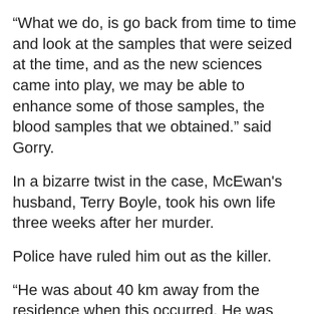“What we do, is go back from time to time and look at the samples that were seized at the time, and as the new sciences came into play, we may be able to enhance some of those samples, the blood samples that we obtained.” said Gorry.
In a bizarre twist in the case, McEwan’s husband, Terry Boyle, took his own life three weeks after her murder.
Police have ruled him out as the killer.
“He was about 40 km away from the residence when this occurred. He was making a delivery for his job, and his cell phone indicated that he was also in that area.” said Gorry.
The OPP have posted a $50,000 reward in the case.
Police say they believe Sheri-Lynn McEwan was targeted.
The door to the house was kicked down; the killer committed the brutal stabbing, and didn’t go anywhere